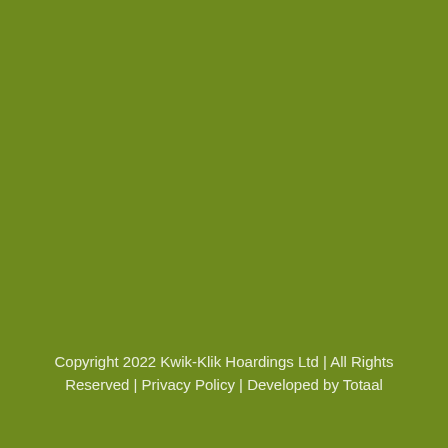Copyright 2022 Kwik-Klik Hoardings Ltd | All Rights Reserved | Privacy Policy | Developed by Totaal